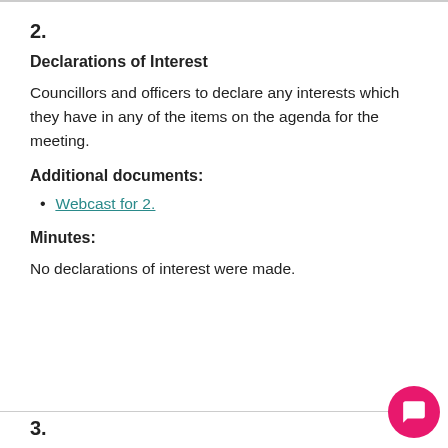2.
Declarations of Interest
Councillors and officers to declare any interests which they have in any of the items on the agenda for the meeting.
Additional documents:
Webcast for 2.
Minutes:
No declarations of interest were made.
3.